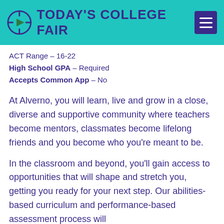Today's College Fair
ACT Range – 16-22
High School GPA – Required
Accepts Common App – No
At Alverno, you will learn, live and grow in a close, diverse and supportive community where teachers become mentors, classmates become lifelong friends and you become who you're meant to be.
In the classroom and beyond, you'll gain access to opportunities that will shape and stretch you, getting you ready for your next step. Our abilities-based curriculum and performance-based assessment process will